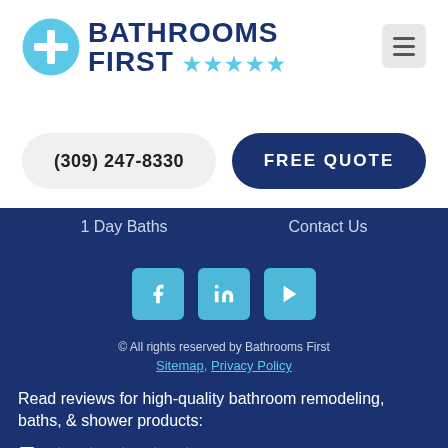[Figure (logo): Bathrooms First logo with blue circle plus sign, dark navy bold text 'BATHROOMS FIRST' and cyan five-pointed stars]
(309) 247-8330
FREE QUOTE
1 Day Baths
Contact Us
[Figure (illustration): Three social media icons: Facebook (f), LinkedIn (in), YouTube (play button), cyan square with rounded corners]
© All rights reserved by Bathrooms First
Sitemap, Privacy Policy
Read reviews for high-quality bathroom remodeling, baths,  & shower products:
5 ★★★★★
5 out of 5 stars (based on 17 reviews)